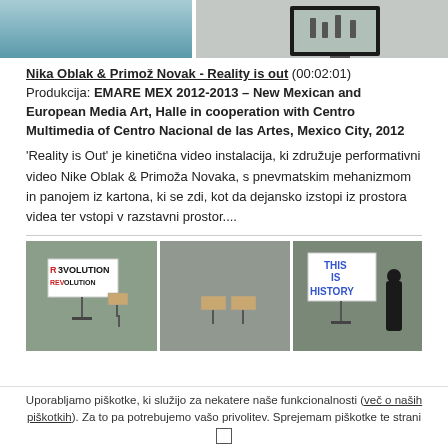[Figure (photo): Top image showing an art installation with teal/blue floor and a wall-mounted monitor on the right side]
Nika Oblak & Primož Novak - Reality is out (00:02:01)
Produkcija: EMARE MEX 2012-2013 – New Mexican and European Media Art, Halle in cooperation with Centro Multimedia of Centro Nacional de las Artes, Mexico City, 2012
'Reality is Out' je kinetična video instalacija, ki združuje performativni video Nike Oblak & Primoža Novaka, s pnevmatskim mehanizmom in panojem iz kartona, ki se zdi, kot da dejansko izstopi iz prostora videa ter vstopi v razstavni prostor....
[Figure (photo): Bottom image showing an art installation with protest signs reading 'REVOLUTION' and 'THIS IS HISTORY' on stands in a gallery space]
Uporabljamo piškotke, ki služijo za nekatere naše funkcionalnosti (več o naših piškotkih). Za to pa potrebujemo vašo privolitev. Sprejemam piškotke te strani